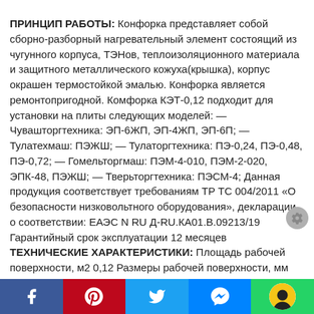ПРИНЦИП РАБОТЫ:[/b] Конфорка представляет собой сборно-разборный нагревательный элемент состоящий из чугунного корпуса, ТЭНов, теплоизоляционного материала и защитного металлического кожуха(крышка), корпус окрашен термостойкой эмалью. Конфорка является ремонтопригодной. Комфорка КЭТ-0,12 подходит для установки на плиты следующих моделей: — Чувашторгтехника: ЭП-6ЖП, ЭП-4ЖП, ЭП-6П; — Тулатехмаш: ПЭЖШ; — Тулаторгтехника: ПЭ-0,24, ПЭ-0,48, ПЭ-0,72; — Гомельторгмаш: ПЭМ-4-010, ПЭМ-2-020, ЭПК-48, ПЭЖШ; — Тверьторгтехника: ПЭСМ-4; Данная продукция соответствует требованиям ТР ТС 004/2011 «О безопасности низковольтного оборудования», декларации о соответствии: ЕАЭС N RU Д-RU.КА01.В.09213/19 Гарантийный срок эксплуатации 12 месяцев [b]ТЕХНИЧЕСКИЕ ХАРАКТЕРИСТИКИ:[/b] Площадь рабочей поверхности, м2 0,12 Размеры рабочей поверхности, мм 415х295 Мощность, кВт 3 Тип комфорки Чугунное литье Вид тока переменный Температура рабочей поверхности, С не более 400 Номинальное напряжение, В 220 Число ТЭНов, шт 2 Режимы работы